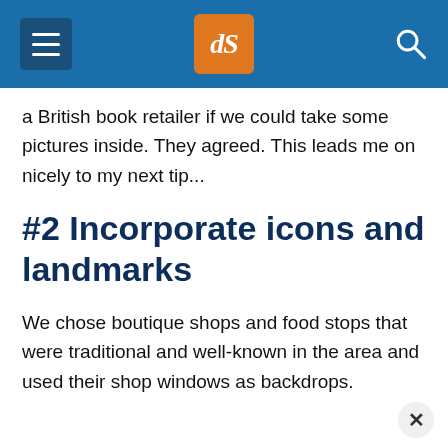dPS navigation header with hamburger menu, dPS logo, and search icon
a British book retailer if we could take some pictures inside. They agreed. This leads me on nicely to my next tip...
#2 Incorporate icons and landmarks
We chose boutique shops and food stops that were traditional and well-known in the area and used their shop windows as backdrops.